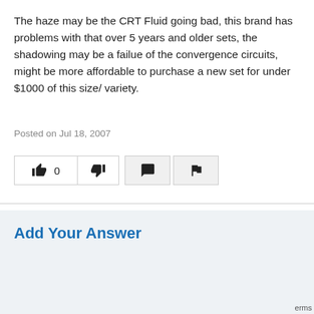The haze may be the CRT Fluid going bad, this brand has problems with that over 5 years and older sets, the shadowing may be a failue of the convergence circuits, might be more affordable to purchase a new set for under $1000 of this size/ variety.
Posted on Jul 18, 2007
[Figure (other): Row of interaction buttons: thumbs up with count 0, thumbs down, comment bubble, flag icon]
Add Your Answer
[Figure (screenshot): Answer text input area with white textarea box, partially visible reCAPTCHA widget and 'erms' text at bottom right]